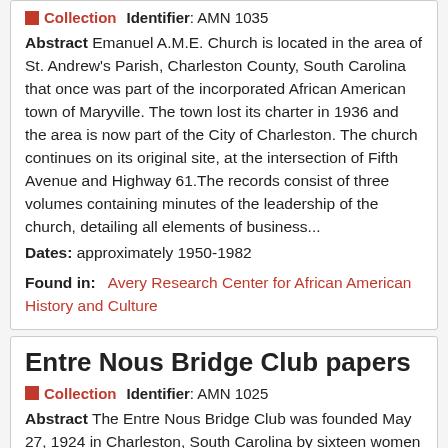Collection   Identifier: AMN 1035
Abstract Emanuel A.M.E. Church is located in the area of St. Andrew's Parish, Charleston County, South Carolina that once was part of the incorporated African American town of Maryville. The town lost its charter in 1936 and the area is now part of the City of Charleston. The church continues on its original site, at the intersection of Fifth Avenue and Highway 61.The records consist of three volumes containing minutes of the leadership of the church, detailing all elements of business...
Dates: approximately 1950-1982
Found in:   Avery Research Center for African American History and Culture
Entre Nous Bridge Club papers
Collection   Identifier: AMN 1025
Abstract The Entre Nous Bridge Club was founded May 27, 1924 in Charleston, South Carolina by sixteen women to play a card game known as Five Hundred. The group, with membership limited to